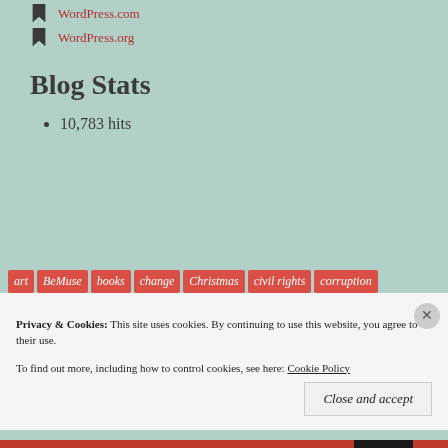WordPress.com
WordPress.org
Blog Stats
10,783 hits
art BeMuse books change Christmas civil rights corruption
economic justice events funny gay gay marriage holiday identity
Privacy & Cookies: This site uses cookies. By continuing to use this website, you agree to their use. To find out more, including how to control cookies, see here: Cookie Policy
Close and accept